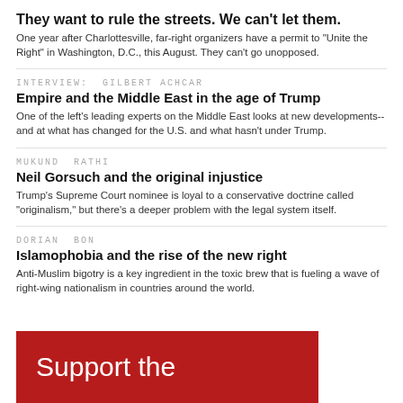They want to rule the streets. We can't let them.
One year after Charlottesville, far-right organizers have a permit to "Unite the Right" in Washington, D.C., this August. They can't go unopposed.
INTERVIEW: GILBERT ACHCAR
Empire and the Middle East in the age of Trump
One of the left's leading experts on the Middle East looks at new developments-- and at what has changed for the U.S. and what hasn't under Trump.
MUKUND RATHI
Neil Gorsuch and the original injustice
Trump's Supreme Court nominee is loyal to a conservative doctrine called "originalism," but there's a deeper problem with the legal system itself.
DORIAN BON
Islamophobia and the rise of the new right
Anti-Muslim bigotry is a key ingredient in the toxic brew that is fueling a wave of right-wing nationalism in countries around the world.
[Figure (other): Red banner with white text reading 'Support the']